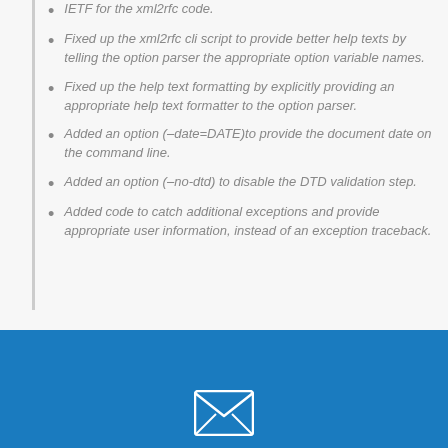IETF for the xml2rfc code.
Fixed up the xml2rfc cli script to provide better help texts by telling the option parser the appropriate option variable names.
Fixed up the help text formatting by explicitly providing an appropriate help text formatter to the option parser.
Added an option (–date=DATE)to provide the document date on the command line.
Added an option (–no-dtd) to disable the DTD validation step.
Added code to catch additional exceptions and provide appropriate user information, instead of an exception traceback.
[Figure (illustration): White envelope icon on a blue background footer area]